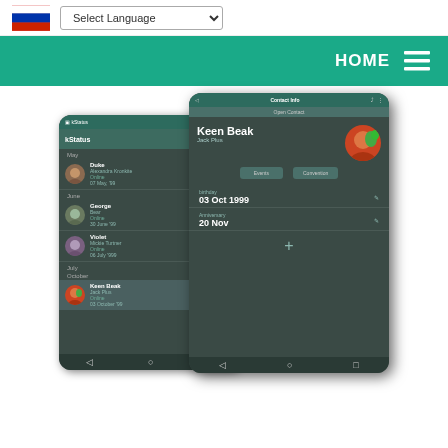[Figure (screenshot): Top navigation bar with Russian flag icon and Select Language dropdown]
[Figure (screenshot): Green navigation bar with HOME text and hamburger menu icon]
[Figure (screenshot): Two overlapping Android app screenshots showing a contacts/status app. Back phone shows a list of contacts (Duke, George, Violet) with month labels May, June, July, October and a highlighted Keen Beak entry. Front phone shows Contact Info for Keen Beak, Jack Plus with birthday 03 Oct 1999 and anniversary 20 Nov]